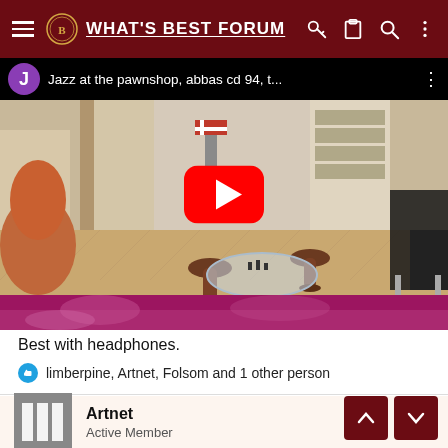WHAT'S BEST FORUM
[Figure (screenshot): YouTube video thumbnail showing a living room with parquet herringbone floor, an orange egg chair on the left, wooden stools around a glass coffee table, a dark chair on the right, a purple-red rug in the foreground, and a play button overlay. Video title: Jazz at the pawnshop, abbas cd 94, t...]
Best with headphones.
limberpine, Artnet, Folsom and 1 other person
Artnet
Active Member